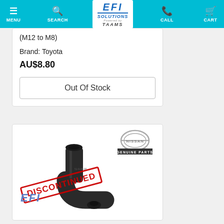MENU | SEARCH | EFI SOLUTIONS Powered by TAAMS | CALL | CART
(M12 to M8)
Brand: Toyota
AU$8.80
Out Of Stock
[Figure (photo): Nissan Genuine Parts rubber elbow hose with DISCONTINUED stamp overlay, and EFI logo at bottom]